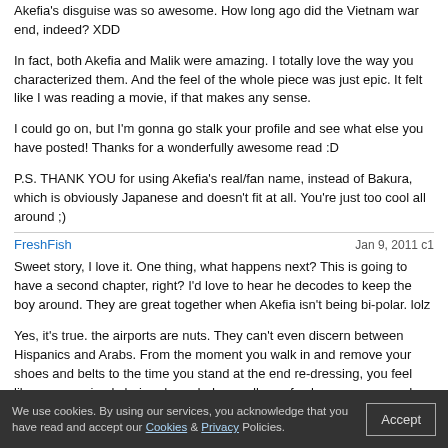Akefia's disguise was so awesome. How long ago did the Vietnam war end, indeed? XDD
In fact, both Akefia and Malik were amazing. I totally love the way you characterized them. And the feel of the whole piece was just epic. It felt like I was reading a movie, if that makes any sense.
I could go on, but I'm gonna go stalk your profile and see what else you have posted! Thanks for a wonderfully awesome read :D
P.S. THANK YOU for using Akefia's real/fan name, instead of Bakura, which is obviously Japanese and doesn't fit at all. You're just too cool all around ;)
FreshFish — Jan 9, 2011 c1
Sweet story, I love it. One thing, what happens next? This is going to have a second chapter, right? I'd love to hear he decodes to keep the boy around. They are great together when Akefia isn't being bi-polar. lolz
Yes, it's true. the airports are nuts. They can't even discern between Hispanics and Arabs. From the moment you walk in and remove your shoes and belts to the time you stand at the end re-dressing, you feel like you are simply being degraded regardless of color, race, or creed.
Still, if you want to arrive at your destination alive, I guess you Have to put up with it.
We use cookies. By using our services, you acknowledge that you have read and accept our Cookies & Privacy Policies. Accept